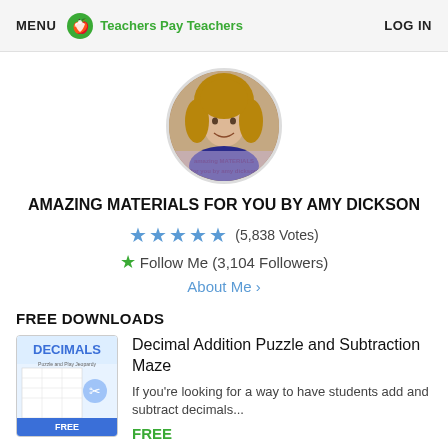MENU   Teachers Pay Teachers   LOG IN
[Figure (photo): Circular profile photo of Amy Dickson with text overlay 'amazing materials for you by Amy Dickson']
AMAZING MATERIALS FOR YOU BY AMY DICKSON
★★★★★ (5,838 Votes)
★ Follow Me (3,104 Followers)
About Me ›
FREE DOWNLOADS
[Figure (photo): Thumbnail image of Decimal Addition Puzzle and Subtraction Maze product with DECIMALS text and scissors icon, labeled FREE]
Decimal Addition Puzzle and Subtraction Maze
If you're looking for a way to have students add and subtract decimals...
FREE